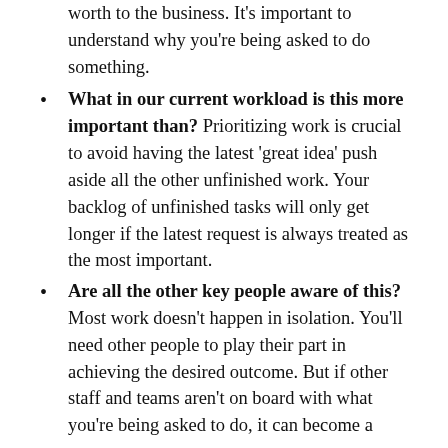worth to the business. It's important to understand why you're being asked to do something.
What in our current workload is this more important than? Prioritizing work is crucial to avoid having the latest 'great idea' push aside all the other unfinished work. Your backlog of unfinished tasks will only get longer if the latest request is always treated as the most important.
Are all the other key people aware of this? Most work doesn't happen in isolation. You'll need other people to play their part in achieving the desired outcome. But if other staff and teams aren't on board with what you're being asked to do, it can become a